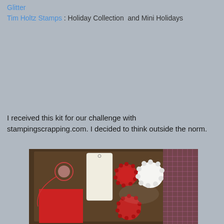Glitter
Tim Holtz Stamps : Holiday Collection  and Mini Holidays
I received this kit for our challenge with stampingscrapping.com. I decided to think outside the norm.
[Figure (photo): Photo of a craft kit laid out on a brown paper surface with a pink cutting mat visible in the background. Items include a white gift tag, a red paper square, a spool of red and white twine, two red paper doilies, and one white scalloped circle.]